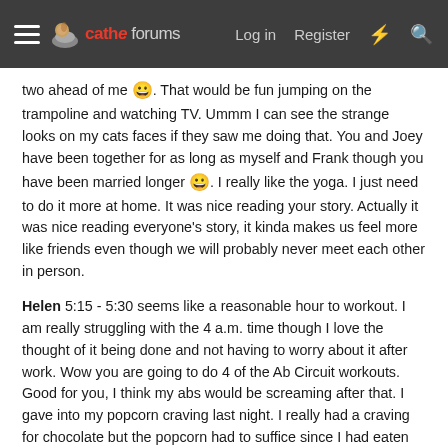cathe forums — Log in | Register
two ahead of me 😀. That would be fun jumping on the trampoline and watching TV. Ummm I can see the strange looks on my cats faces if they saw me doing that. You and Joey have been together for as long as myself and Frank though you have been married longer 😀. I really like the yoga. I just need to do it more at home. It was nice reading your story. Actually it was nice reading everyone's story, it kinda makes us feel more like friends even though we will probably never meet each other in person.
Helen 5:15 - 5:30 seems like a reasonable hour to workout. I am really struggling with the 4 a.m. time though I love the thought of it being done and not having to worry about it after work. Wow you are going to do 4 of the Ab Circuit workouts. Good for you, I think my abs would be screaming after that. I gave into my popcorn craving last night. I really had a craving for chocolate but the popcorn had to suffice since I had eaten all the chocolate we had in the house 😱.